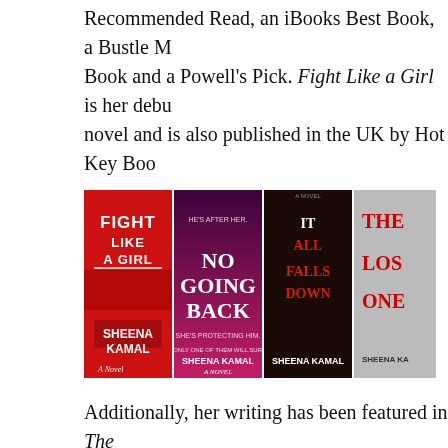Recommended Read, an iBooks Best Book, a Bustle Must-Read Book and a Powell's Pick. Fight Like a Girl is her debut novel and is also published in the UK by Hot Key Books.
[Figure (photo): Four book covers by Sheena Kamal arranged side by side: 'Fight Like a Girl' (red cover), 'No Going Back' (dark pink/purple cover), 'It All Falls Down' (dark cover), and 'The Lost Ones' (grey cover, partially cropped).]
Additionally, her writing has been featured in The Guardian (U.K.), Bustle, The Irish Times (Ireland), Writer's Digest, and Entertainment Weekly.
She enjoys giving workshops about the writing process, connecting with your creativity, and finding your vo...